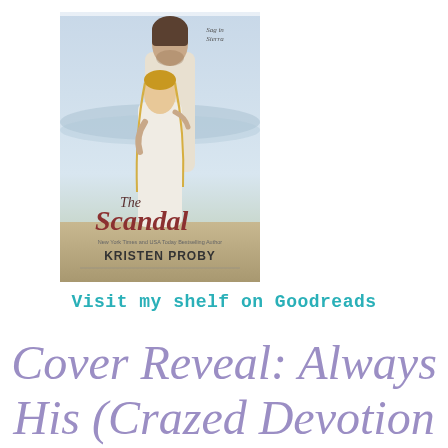[Figure (illustration): Book cover of 'The Scandal' by Kristen Proby showing a couple embracing on a beach — a tall man and a blonde woman in white clothing. Part of the Sag in Sierra series.]
Visit my shelf on Goodreads
Cover Reveal: Always His (Crazed Devotion #1) by CA Harms